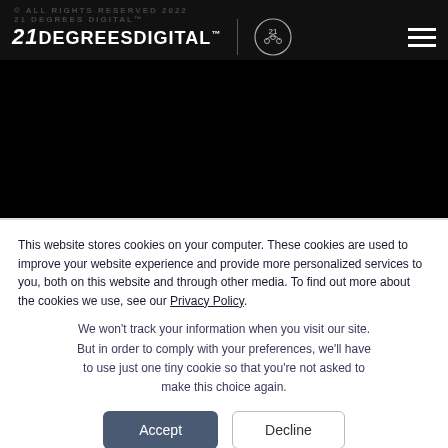© ALL RIGHTS RESERVED 2022
21 DEGREES DIGITAL™
LEEDS STUDIO
51, Evans Business Centre,
Burley Hill Trading Estate,
Leeds, LS4 2PU
This website stores cookies on your computer. These cookies are used to improve your website experience and provide more personalized services to you, both on this website and through other media. To find out more about the cookies we use, see our Privacy Policy.
We won't track your information when you visit our site. But in order to comply with your preferences, we'll have to use just one tiny cookie so that you're not asked to make this choice again.
Accept | Decline